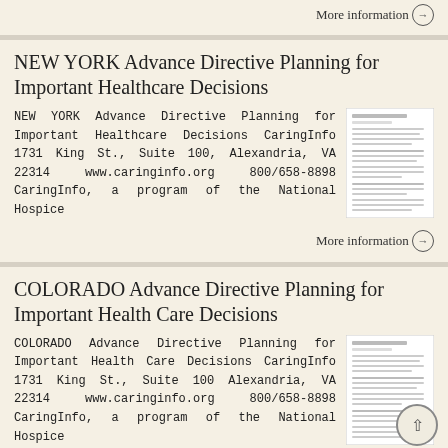More information →
NEW YORK Advance Directive Planning for Important Healthcare Decisions
NEW YORK Advance Directive Planning for Important Healthcare Decisions CaringInfo 1731 King St., Suite 100, Alexandria, VA 22314 www.caringinfo.org 800/658-8898 CaringInfo, a program of the National Hospice
More information →
COLORADO Advance Directive Planning for Important Health Care Decisions
COLORADO Advance Directive Planning for Important Health Care Decisions CaringInfo 1731 King St., Suite 100 Alexandria, VA 22314 www.caringinfo.org 800/658-8898 CaringInfo, a program of the National Hospice